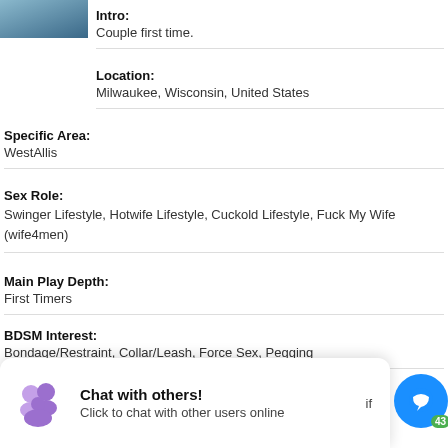[Figure (photo): Partial profile photo top, cropped, showing blue/teal tones]
Intro:
Couple first time.
Location:
Milwaukee, Wisconsin, United States
Specific Area:
WestAllis
Sex Role:
Swinger Lifestyle, Hotwife Lifestyle, Cuckold Lifestyle, Fuck My Wife (wife4men)
Main Play Depth:
First Timers
BDSM Interest:
Bondage/Restraint, Collar/Leash, Force Sex, Pegging
[Figure (screenshot): Chat with others! banner overlay with purple people icon and blue chat bubble button with 43 badge]
[Figure (photo): Partial profile photo bottom left]
Username: